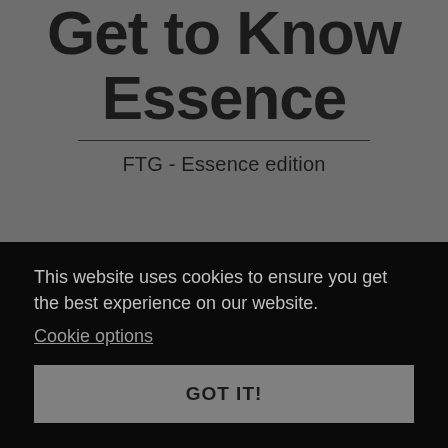Get to Know Essence
FTG - Essence edition
This website uses cookies to ensure you get the best experience on our website.
Cookie options
GOT IT!